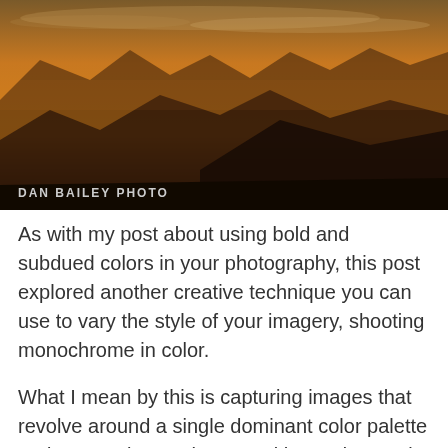[Figure (photo): Dramatic sunset landscape photo showing layered mountain silhouettes against an orange-amber sky with subtle clouds. Watermark 'DAN BAILEY PHOTO' in lower left.]
As with my post about using bold and subdued colors in your photography, this post explored another creative technique you can use to vary the style of your imagery, shooting monochrome in color.
What I mean by this is capturing images that revolve around a single dominant color palette and composing so that you either reduce or in some cases, eliminate any other hue that's not directly related to your main color.